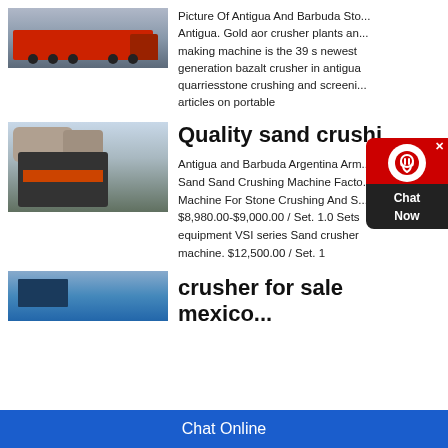[Figure (photo): Red heavy transport truck with multiple axles on a road]
Picture Of Antigua And Barbuda Stone Crusher Antigua. Gold aor crusher plants and making machine is the 39 s newest generation bazalt crusher in antigua quarriesstone crushing and screening articles on portable
[Figure (photo): Stone crushing machine/jaw crusher at a quarry site]
Quality sand crushi...
Antigua and Barbuda Argentina Armenia Sand Sand Crushing Machine Factory Machine For Stone Crushing And S... $8,980.00-$9,000.00 / Set. 1.0 Sets equipment VSI series Sand crusher machine. $12,500.00 / Set. 1
[Figure (photo): Blue industrial container or equipment]
crusher for sale mexico...
[Figure (other): Chat Now widget popup — red circle with headset icon and dark Chat Now label]
Chat Online